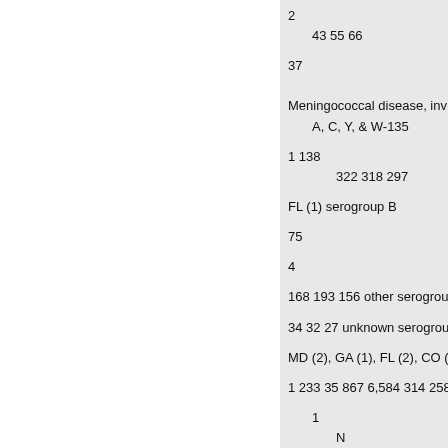2
43 55 66
37
Meningococcal disease, inv A, C, Y, & W-135
1 138
322 318 297
FL (1) serogroup B
75
4
168 193 156 other serogroup
34 32 27 unknown serogroup
MD (2), GA (1), FL (2), CO (1)
1 233 35 867 6,584 314 258 2
1
N
N